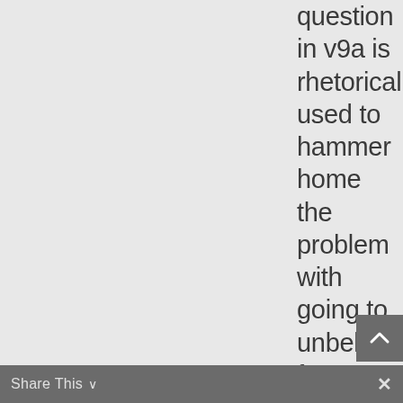question in v9a is rhetorical used to hammer home the problem with going to unbelievers for judgment in disputes. It's a “duh” question.
Share This ⌄   ×